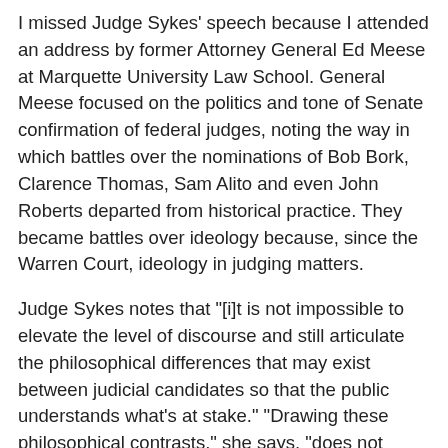I missed Judge Sykes' speech because I attended an address by former Attorney General Ed Meese at Marquette University Law School. General Meese focused on the politics and tone of Senate confirmation of federal judges, noting the way in which battles over the nominations of Bob Bork, Clarence Thomas, Sam Alito and even John Roberts departed from historical practice. They became battles over ideology because, since the Warren Court, ideology in judging matters.
Judge Sykes notes that "[i]t is not impossible to elevate the level of discourse and still articulate the philosophical differences that may exist between judicial candidates so that the public understands what's at stake." "Drawing these philosophical contrasts," she says, "does not require playing on voters' fears or hitting them between the eyes with images of bloody knives, dead bodies, empty swings, and mug shots of child molesters."
I would add that it can be done without referring to judicial nominees as racially insensitive or indifferent to the needs of ordinary people because they do not believe that it is their